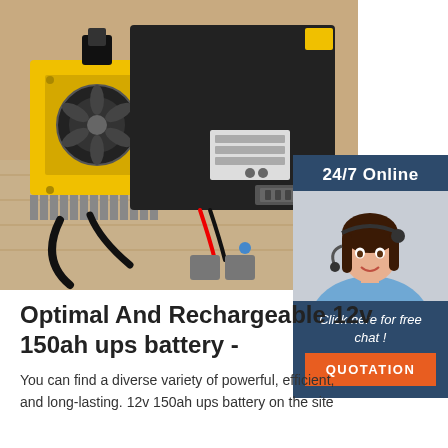[Figure (photo): UPS battery system with yellow component, black box battery, and cables on a wooden surface]
[Figure (photo): Customer support widget showing a woman with a headset, text '24/7 Online', 'Click here for free chat!', and an orange QUOTATION button]
Optimal And Rechargeable 12v 150ah ups battery -
You can find a diverse variety of powerful, efficient, and long-lasting. 12v 150ah ups battery on the site